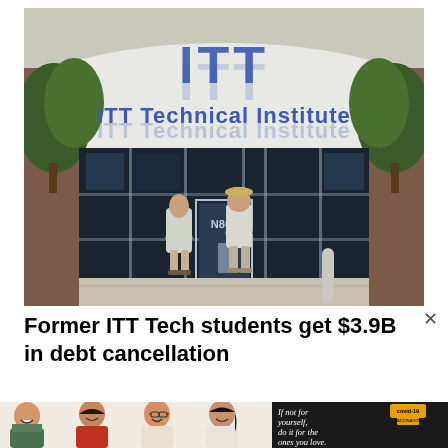[Figure (photo): Exterior photo of an ITT Technical Institute building. The building facade shows the blue ITT logo and 'ITT Technical Institute' lettering. Two people are standing at the entrance doors. Trees visible on both sides. Address number N863 on the door.]
Former ITT Tech students get $3.9B in debt cancellation
[Figure (photo): Advertisement banner at the bottom showing four smiling people (2 men, 2 women) against a warm background, with a dark panel on the right containing italic text 'If not for yourself, do it for the ones you love.' with a covid-19 vaccination badge.]